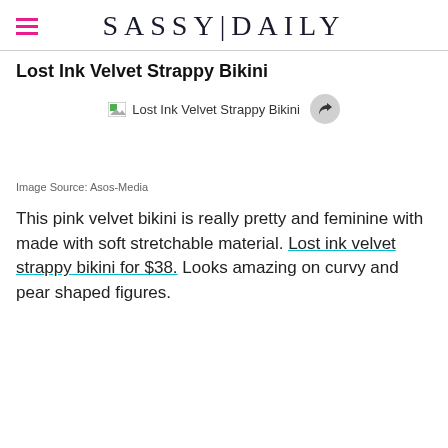SASSY|DAILY
Lost Ink Velvet Strappy Bikini
[Figure (photo): Broken image placeholder for Lost Ink Velvet Strappy Bikini product photo, with share button overlay]
Image Source: Asos-Media
This pink velvet bikini is really pretty and feminine with made with soft stretchable material. Lost ink velvet strappy bikini for $38. Looks amazing on curvy and pear shaped figures.